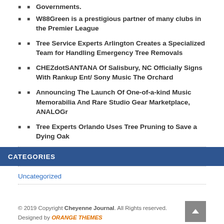Governments.
W88Green is a prestigious partner of many clubs in the Premier League
Tree Service Experts Arlington Creates a Specialized Team for Handling Emergency Tree Removals
CHEZdotSANTANA Of Salisbury, NC Officially Signs With Rankup Ent/ Sony Music The Orchard
Announcing The Launch Of One-of-a-kind Music Memorabilia And Rare Studio Gear Marketplace, ANALOGr
Tree Experts Orlando Uses Tree Pruning to Save a Dying Oak
CATEGORIES
Uncategorized
© 2019 Copyright Cheyenne Journal. All Rights reserved. Designed by ORANGE THEMES